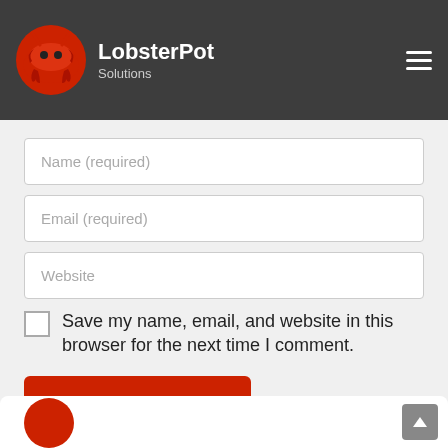[Figure (logo): LobsterPot Solutions logo with red lobster icon and white brand name text on dark grey navigation bar]
Name (required)
Email (required)
Website
Save my name, email, and website in this browser for the next time I comment.
POST COMMENT